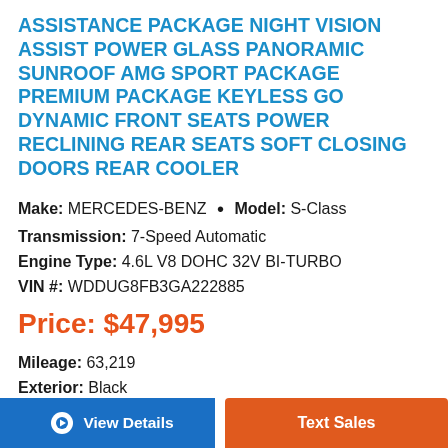ASSISTANCE PACKAGE NIGHT VISION ASSIST POWER GLASS PANORAMIC SUNROOF AMG SPORT PACKAGE PREMIUM PACKAGE KEYLESS GO DYNAMIC FRONT SEATS POWER RECLINING REAR SEATS SOFT CLOSING DOORS REAR COOLER
Make: MERCEDES-BENZ • Model: S-Class
Transmission: 7-Speed Automatic
Engine Type: 4.6L V8 DOHC 32V BI-TURBO
VIN #: WDDUG8FB3GA222885
Price: $47,995
Mileage: 63,219
Exterior: Black
Interior: Black
Stock #: 3954
View Details
Text Sales